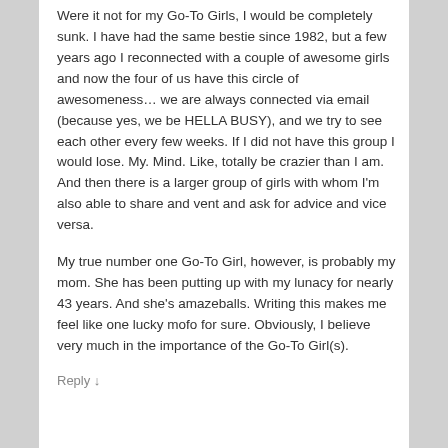Were it not for my Go-To Girls, I would be completely sunk. I have had the same bestie since 1982, but a few years ago I reconnected with a couple of awesome girls and now the four of us have this circle of awesomeness… we are always connected via email (because yes, we be HELLA BUSY), and we try to see each other every few weeks. If I did not have this group I would lose. My. Mind. Like, totally be crazier than I am. And then there is a larger group of girls with whom I'm also able to share and vent and ask for advice and vice versa.
My true number one Go-To Girl, however, is probably my mom. She has been putting up with my lunacy for nearly 43 years. And she's amazeballs. Writing this makes me feel like one lucky mofo for sure. Obviously, I believe very much in the importance of the Go-To Girl(s).
Reply ↓